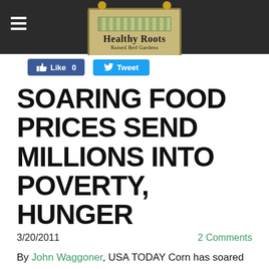Healthy Roots Raised Bed Gardens
[Figure (logo): Healthy Roots Raised Bed Gardens logo with garden gate motif]
Like 0   Tweet
SOARING FOOD PRICES SEND MILLIONS INTO POVERTY, HUNGER
3/20/2011   2 Comments
By John Waggoner, USA TODAY Corn has soared 52% the past 12 months. Sugar's up 60%. Soybeans have jumped 41%. And wheat costs 24% more than it did a year ago.